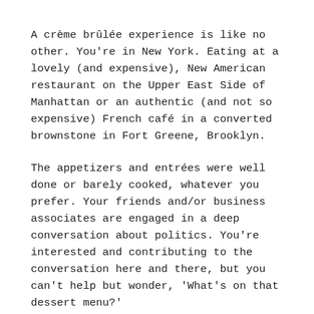A crème brûlée experience is like no other. You're in New York. Eating at a lovely (and expensive), New American restaurant on the Upper East Side of Manhattan or an authentic (and not so expensive) French café in a converted brownstone in Fort Greene, Brooklyn.
The appetizers and entrées were well done or barely cooked, whatever you prefer. Your friends and/or business associates are engaged in a deep conversation about politics. You're interested and contributing to the conversation here and there, but you can't help but wonder, 'What's on that dessert menu?'
Finally, you order the crème brûlée and it comes out beautiful, shiny, and appealing. You've never seen anything like it, have you? With hesitation to mess up its perfect, golden brown beauty, you break its candy crust, and soft Mozart violins start to play.